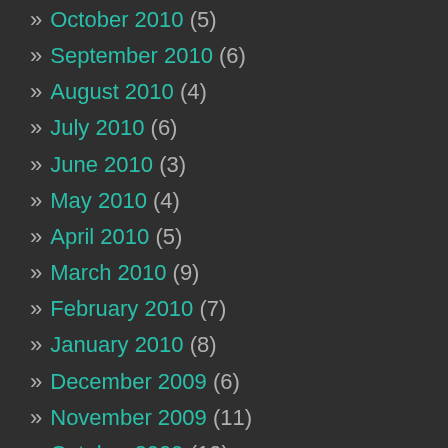» October 2010 (5)
» September 2010 (6)
» August 2010 (4)
» July 2010 (6)
» June 2010 (3)
» May 2010 (4)
» April 2010 (5)
» March 2010 (9)
» February 2010 (7)
» January 2010 (8)
» December 2009 (6)
» November 2009 (11)
» October 2009 (10)
» September 2009 (8)
» June 2009 (1)